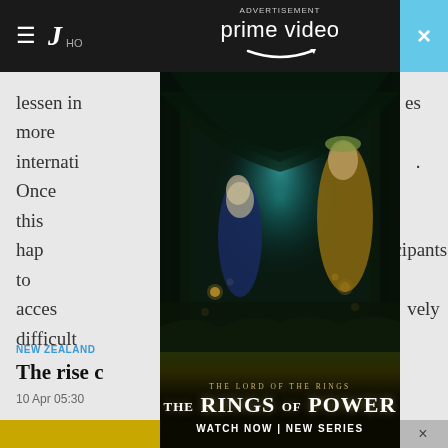≡  J HO
lessen in … es more international … . Once this hap … cipants to acces … vely difficult …
[Figure (screenshot): Amazon Prime Video advertisement overlay showing 'The Lord of the Rings: The Rings of Power' promotional poster. Two elven figures in cloaks stand in a mystical forest tunnel lit by lanterns. Text reads: ADVERTISEMENT, prime video, THE LORD OF THE RINGS, THE RINGS OF POWER, WATCH NOW | NEW SERIES. A teal close (X) button appears top right of the ad.]
NEW ZEALAND
The rise c… ent
10 Apr 05:30